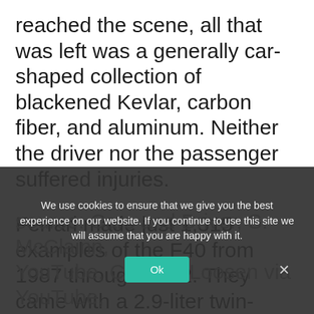reached the scene, all that was left was a generally car-shaped collection of blackened Kevlar, carbon fiber, and aluminum. Neither the driver nor the passenger suffered injuries.
Ferrari made just 1,315 examples of the F40 from 1987 through 1992. They came with a 2.9-liter twin-turbocharged V8 making 471 horsepower (352 kilowatts). A five-speed manual sent power to the rear
We use cookies to ensure that we give you the best experience on our website. If you continue to use this site we will assume that you are happy with it.
source: Cars and Driver, S. McClainn, YouTube, Carsten Loosen via YouTube,